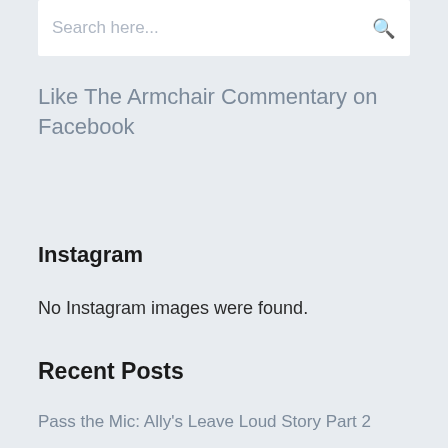Search here...
Like The Armchair Commentary on Facebook
Instagram
No Instagram images were found.
Recent Posts
Pass the Mic: Ally's Leave Loud Story Part 2